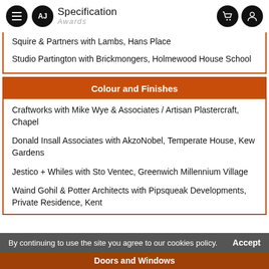AJ Specification Awards
Squire & Partners with Lambs, Hans Place
Studio Partington with Brickmongers, Holmewood House School
Colour and Finishes
Craftworks with Mike Wye & Associates / Artisan Plastercraft, Chapel
Donald Insall Associates with AkzoNobel, Temperate House, Kew Gardens
Jestico + Whiles with Sto Ventec, Greenwich Millennium Village
Waind Gohil & Potter Architects with Pipsqueak Developments, Private Residence, Kent
By continuing to use the site you agree to our cookies policy.  Accept
Doors and Windows